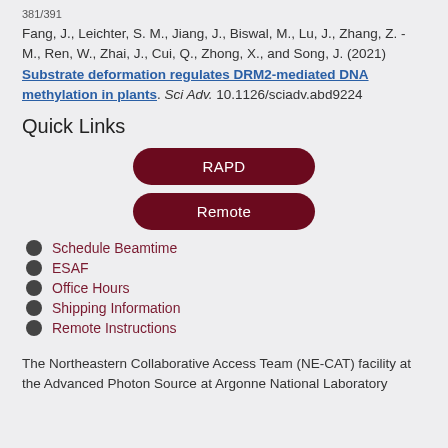381/391
Fang, J., Leichter, S. M., Jiang, J., Biswal, M., Lu, J., Zhang, Z. - M., Ren, W., Zhai, J., Cui, Q., Zhong, X., and Song, J. (2021) Substrate deformation regulates DRM2-mediated DNA methylation in plants. Sci Adv. 10.1126/sciadv.abd9224
Quick Links
[Figure (infographic): Two dark red pill-shaped buttons labeled RAPD and Remote, centered on the page]
Schedule Beamtime
ESAF
Office Hours
Shipping Information
Remote Instructions
The Northeastern Collaborative Access Team (NE-CAT) facility at the Advanced Photon Source at Argonne National Laboratory